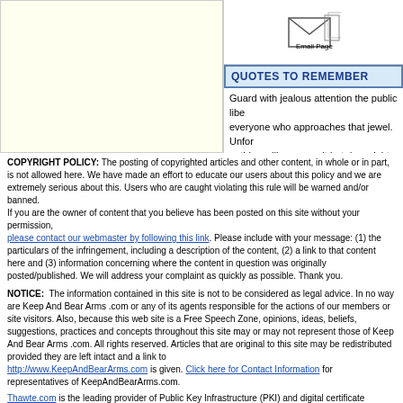[Figure (illustration): Email envelope icon above 'Email Page' label]
QUOTES TO REMEMBER
Guard with jealous attention the public libe... everyone who approaches that jewel. Unfor... nothing will preserve it but downright force... give up that force, you are ruined. — Patric... Virginia's Convention to Ratify the Constitu...
COPYRIGHT POLICY: The posting of copyrighted articles and other content, in whole or in part, is not allowed here. We have made an effort to educate our users about this policy and we are extremely serious about this. Users who are caught violating this rule will be warned and/or banned.
If you are the owner of content that you believe has been posted on this site without your permission, please contact our webmaster by following this link. Please include with your message: (1) the particulars of the infringement, including a description of the content, (2) a link to that content here and (3) information concerning where the content in question was originally posted/published. We will address your complaint as quickly as possible. Thank you.
NOTICE: The information contained in this site is not to be considered as legal advice. In no way are Keep And Bear Arms .com or any of its agents responsible for the actions of our members or site visitors. Also, because this web site is a Free Speech Zone, opinions, ideas, beliefs, suggestions, practices and concepts throughout this site may or may not represent those of Keep And Bear Arms .com. All rights reserved. Articles that are original to this site may be redistributed provided they are left intact and a link to http://www.KeepAndBearArms.com is given. Click here for Contact Information for representatives of KeepAndBearArms.com.
Thawte.com is the leading provider of Public Key Infrastructure (PKI) and digital certificate solutions used by enterprises, Web sites, and consumers to conduct secure communications and transactions over the Internet and private networks.
KeepAndBearArms.com, Inc. © 1999-2022, All Rights Reserved. Privacy Policy